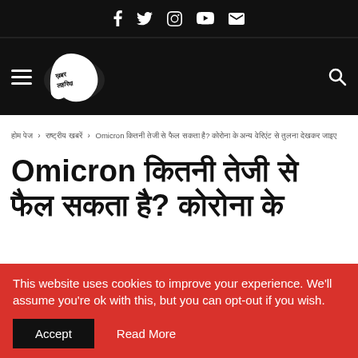Social media icons: Facebook, Twitter, Instagram, YouTube, Email
[Figure (logo): Khabar Lahariya news website logo with hamburger menu and search icon on black navigation bar]
होम पेज > राष्ट्रीय खबरें > Omicron कितनी तेजी से फैल सकता है? कोरोना के अन्य वेरिएंट से तुलना देखकर जाइए
Omicron कितनी तेजी से फैल सकता है? कोरोना के
This website uses cookies to improve your experience. We'll assume you're ok with this, but you can opt-out if you wish.